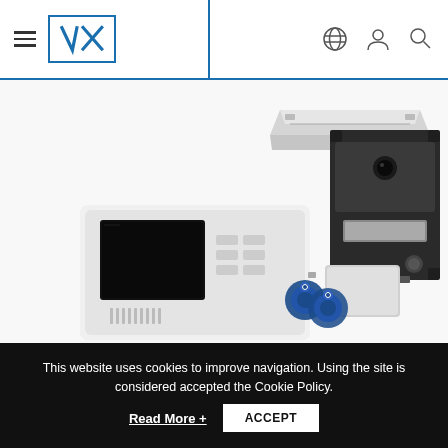VX website navigation header with hamburger menu, VX logo, globe icon, user icon, and search icon
[Figure (photo): Security intercom system product photo showing: a white video indoor monitor/handset unit with screen, a dark outdoor door station with camera and display, a mounting bracket rail on top, and RFID key fobs and card access tokens at bottom right]
This website uses cookies to improve navigation. Using the site is considered accepted the Cookie Policy.
Read More +
ACCEPT